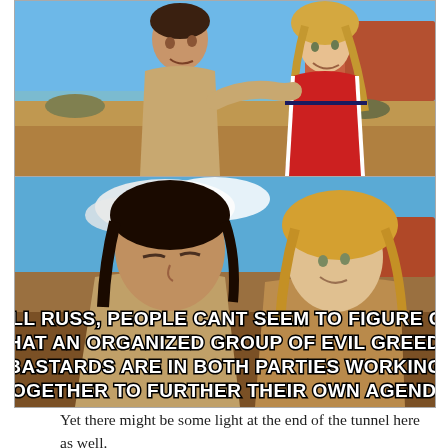[Figure (photo): Two-panel meme image from a movie/TV show. Top panel: two people (one darker-haired in tan shirt, one blonde in red sports jersey) sitting outdoors in a desert/outback landscape with red rock formations and blue sky. Bottom panel: the same two people in a closer shot in similar outdoor setting. The bottom image has white Impact-font text overlaid reading: 'WELL RUSS, PEOPLE CANT SEEM TO FIGURE OUT THAT AN ORGANIZED GROUP OF EVIL GREEDY BASTARDS ARE IN BOTH PARTIES WORKING TOGETHER TO FURTHER THEIR OWN AGENDA']
Yet there might be some light at the end of the tunnel here as well.
In a little over a month, President-elect Biden will